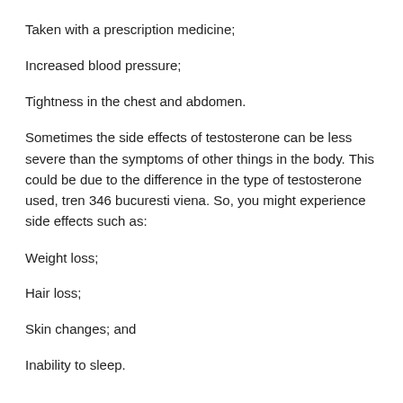Taken with a prescription medicine;
Increased blood pressure;
Tightness in the chest and abdomen.
Sometimes the side effects of testosterone can be less severe than the symptoms of other things in the body. This could be due to the difference in the type of testosterone used, tren 346 bucuresti viena. So, you might experience side effects such as:
Weight loss;
Hair loss;
Skin changes; and
Inability to sleep.